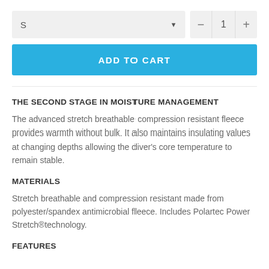[Figure (screenshot): E-commerce product page UI showing size selector dropdown with 'S' selected, quantity controls with minus, '1', and plus buttons, and a blue 'ADD TO CART' button]
THE SECOND STAGE IN MOISTURE MANAGEMENT
The advanced stretch breathable compression resistant fleece provides warmth without bulk. It also maintains insulating values at changing depths allowing the diver's core temperature to remain stable.
MATERIALS
Stretch breathable and compression resistant made from polyester/spandex antimicrobial fleece. Includes Polartec Power Stretch®technology.
FEATURES